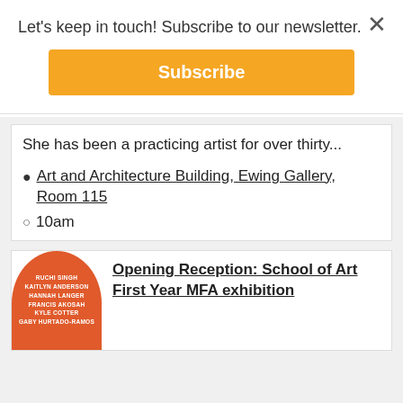Let's keep in touch! Subscribe to our newsletter.
Subscribe
She has been a practicing artist for over thirty...
Art and Architecture Building, Ewing Gallery, Room 115
10am
[Figure (illustration): Orange rounded arch shape with white text listing artist names: RUCHI SINGH, KAITLYN ANDERSON, HANNAH LANGER, FRANCIS AKOSAH, KYLE COTTER, GABY HURTADO-RAMOS]
Opening Reception: School of Art First Year MFA exhibition